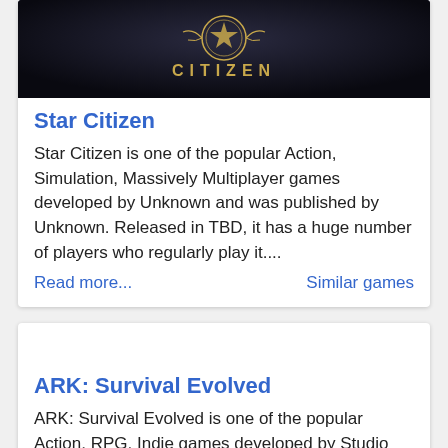[Figure (screenshot): Star Citizen game banner with dark background showing 'CITIZEN' text and emblem]
Star Citizen
Star Citizen is one of the popular Action, Simulation, Massively Multiplayer games developed by Unknown and was published by Unknown. Released in TBD, it has a huge number of players who regularly play it....
Read more...   Similar games
ARK: Survival Evolved
ARK: Survival Evolved is one of the popular Action, RPG, Indie games developed by Studio Wildcard and was published by Studio Wildcard. Released in 27 Aug 2017, it has a huge number of players who...